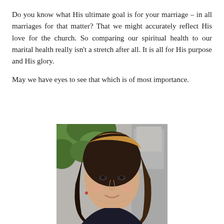Do you know what His ultimate goal is for your marriage – in all marriages for that matter? That we might accurately reflect His love for the church. So comparing our spiritual health to our marital health really isn't a stretch after all. It is all for His purpose and His glory.
May we have eyes to see that which is of most importance.
[Figure (photo): Portrait photo of a young woman with long dark brown hair with highlights, smiling gently, photographed outdoors with green foliage and stone/gravel background.]